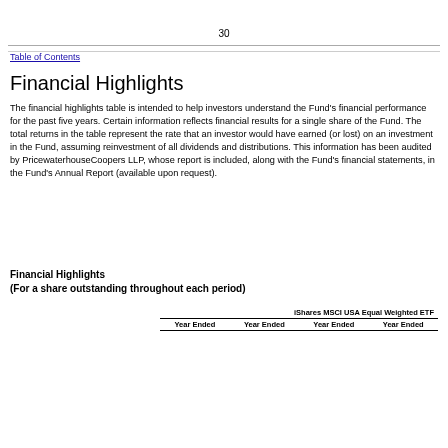30
Table of Contents
Financial Highlights
The financial highlights table is intended to help investors understand the Fund's financial performance for the past five years. Certain information reflects financial results for a single share of the Fund. The total returns in the table represent the rate that an investor would have earned (or lost) on an investment in the Fund, assuming reinvestment of all dividends and distributions. This information has been audited by PricewaterhouseCoopers LLP, whose report is included, along with the Fund's financial statements, in the Fund's Annual Report (available upon request).
Financial Highlights
(For a share outstanding throughout each period)
|  | Year Ended | Year Ended | Year Ended | Year Ended |
| --- | --- | --- | --- | --- |